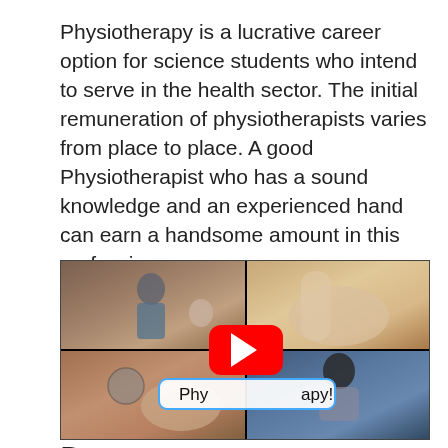Physiotherapy is a lucrative career option for science students who intend to serve in the health sector. The initial remuneration of physiotherapists varies from place to place. A good Physiotherapist who has a sound knowledge and an experienced hand can earn a handsome amount in this profession.
[Figure (photo): A 2x2 grid of physiotherapy-related photos: top-left shows a therapist treating a patient seated in a chair; top-right shows a close-up of a knee/leg being treated; bottom-left shows a stethoscope placed on a person's back; bottom-right shows a young man studying at a desk. A YouTube play button overlay is centered over the grid with text 'Phy...apy!'.]
D...